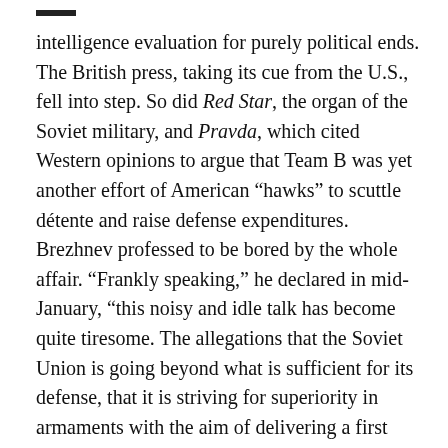intelligence evaluation for purely political ends. The British press, taking its cue from the U.S., fell into step. So did Red Star, the organ of the Soviet military, and Pravda, which cited Western opinions to argue that Team B was yet another effort of American "hawks" to scuttle détente and raise defense expenditures. Brezhnev professed to be bored by the whole affair. "Frankly speaking," he declared in mid-January, "this noisy and idle talk has become quite tiresome. The allegations that the Soviet Union is going beyond what is sufficient for its defense, that it is striving for superiority in armaments with the aim of delivering a first strike are absurd and totally unfounded." For good measure Brezhnev added that his country "will never take the path of aggression, and will